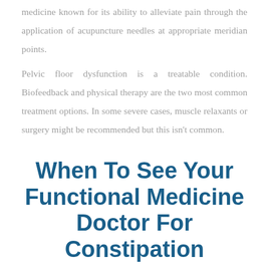medicine known for its ability to alleviate pain through the application of acupuncture needles at appropriate meridian points.
Pelvic floor dysfunction is a treatable condition. Biofeedback and physical therapy are the two most common treatment options. In some severe cases, muscle relaxants or surgery might be recommended but this isn't common.
When To See Your Functional Medicine Doctor For Constipation